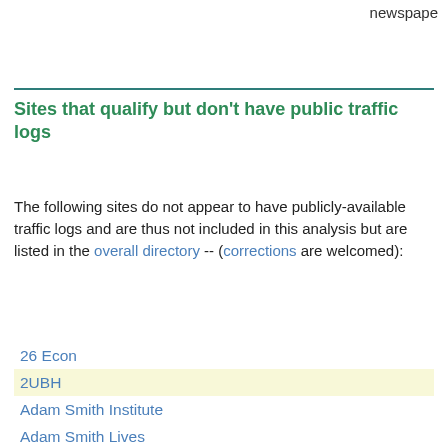newspaper
Sites that qualify but don't have public traffic logs
The following sites do not appear to have publicly-available traffic logs and are thus not included in this analysis but are listed in the overall directory -- (corrections are welcomed):
26 Econ
2UBH
Adam Smith Institute
Adam Smith Lives
Adam Smithee
Agonist
An Economist in Paradise
Aplia Econ Blog
Arrested Development
Athena Alliance
AtlanticBlog